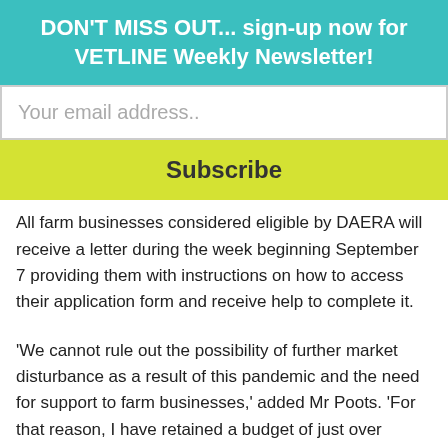DON'T MISS OUT... sign-up now for VETLINE Weekly Newsletter!
Your email address..
Subscribe
All farm businesses considered eligible by DAERA will receive a letter during the week beginning September 7 providing them with instructions on how to access their application form and receive help to complete it.
'We cannot rule out the possibility of further market disturbance as a result of this pandemic and the need for support to farm businesses,' added Mr Poots. 'For that reason, I have retained a budget of just over £7m…This will allow me to address additional issues and challenges that Covid-19 may present in the weeks ahead.'